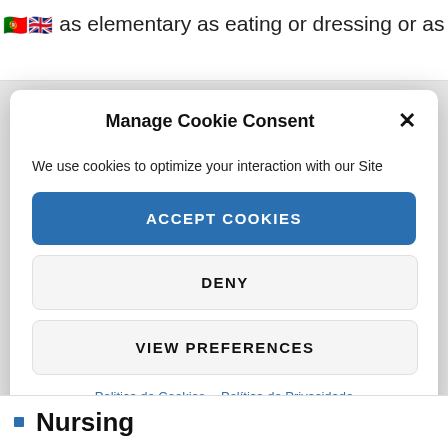🇵🇹🇬🇧 as elementary as eating or dressing or as
Manage Cookie Consent
We use cookies to optimize your interaction with our Site
ACCEPT COOKIES
DENY
VIEW PREFERENCES
Politica de Cookies  Política de Privacidade
Nursing